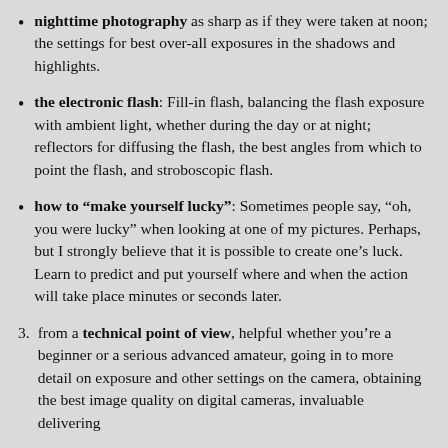nighttime photography as sharp as if they were taken at noon; the settings for best over-all exposures in the shadows and highlights.
the electronic flash: Fill-in flash, balancing the flash exposure with ambient light, whether during the day or at night; reflectors for diffusing the flash, the best angles from which to point the flash, and stroboscopic flash.
how to “make yourself lucky”: Sometimes people say, “oh, you were lucky” when looking at one of my pictures. Perhaps, but I strongly believe that it is possible to create one’s luck. Learn to predict and put yourself where and when the action will take place minutes or seconds later.
3. from a technical point of view, helpful whether you’re a beginner or a serious advanced amateur, going in to more detail on exposure and other settings on the camera, obtaining the best image quality on digital cameras, invaluable delivering